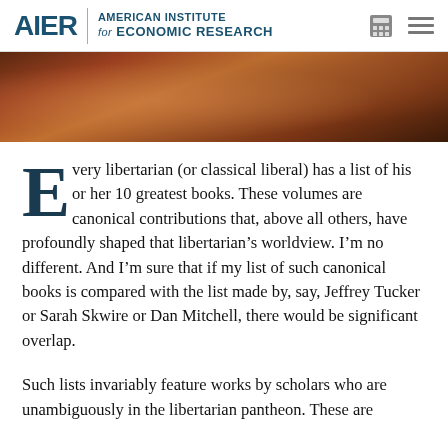AIER | AMERICAN INSTITUTE for ECONOMIC RESEARCH
[Figure (photo): Close-up dark-toned photo, appears to show a musical instrument or decorative object with warm brown and amber tones]
Every libertarian (or classical liberal) has a list of his or her 10 greatest books. These volumes are canonical contributions that, above all others, have profoundly shaped that libertarian’s worldview. I’m no different. And I’m sure that if my list of such canonical books is compared with the list made by, say, Jeffrey Tucker or Sarah Skwire or Dan Mitchell, there would be significant overlap.
Such lists invariably feature works by scholars who are unambiguously in the libertarian pantheon. These are